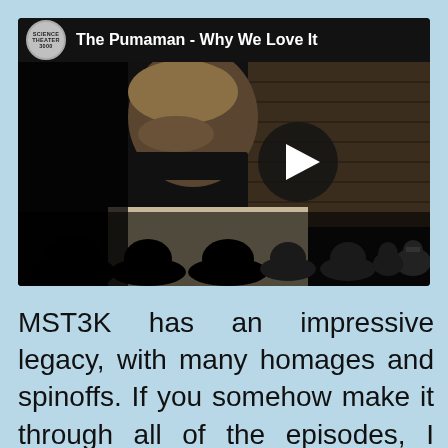[Figure (screenshot): YouTube-style video thumbnail for 'The Pumaman - Why We Love It' with MST3K Science Theater 3000 logo, showing a man's face in a dark scene with a play button overlay and silhouetted audience at the bottom]
MST3K has an impressive legacy, with many homages and spinoffs. If you somehow make it through all of the episodes, I recommend checking out RiffTrax, next, or just check it out now,